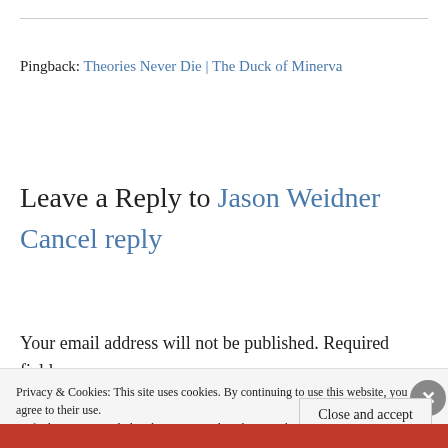Pingback: Theories Never Die | The Duck of Minerva
Leave a Reply to Jason Weidner Cancel reply
Your email address will not be published. Required fields are
Privacy & Cookies: This site uses cookies. By continuing to use this website, you agree to their use.
To find out more, including how to control cookies, see here: Cookie Policy
Close and accept